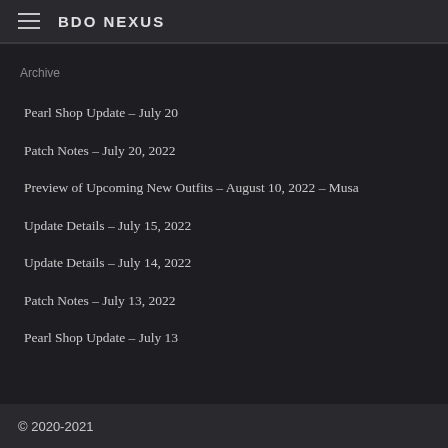BDO NEXUS
Archive
Pearl Shop Update – July 20
Patch Notes – July 20, 2022
Preview of Upcoming New Outfits – August 10, 2022 – Musa
Update Details – July 15, 2022
Update Details – July 14, 2022
Patch Notes – July 13, 2022
Pearl Shop Update – July 13
© 2020-2021